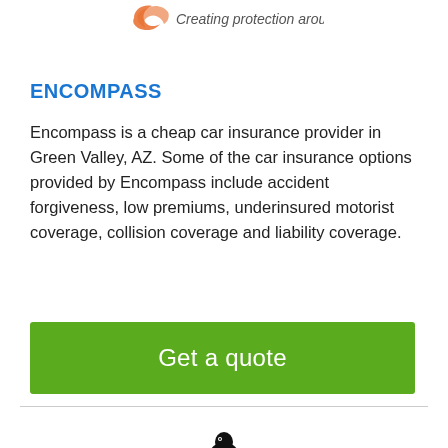Creating protection around you
ENCOMPASS
Encompass is a cheap car insurance provider in Green Valley, AZ. Some of the car insurance options provided by Encompass include accident forgiveness, low premiums, underinsured motorist coverage, collision coverage and liability coverage.
Get a quote
[Figure (logo): Black eagle logo at the bottom of the page]